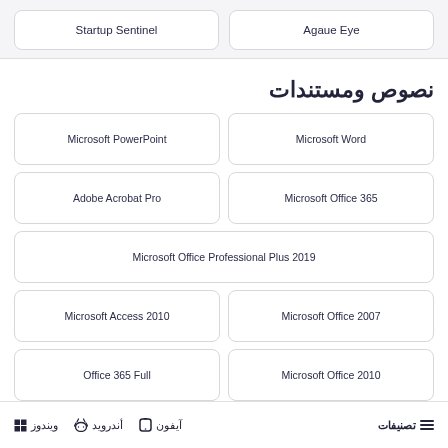Startup Sentinel
Agaue Eye
نصوص ومستندات
Microsoft PowerPoint
Microsoft Word
Adobe Acrobat Pro
Microsoft Office 365
Microsoft Office Professional Plus 2019
Microsoft Access 2010
Microsoft Office 2007
Office 365 Full
Microsoft Office 2010
ويندوز  أندرويد  آيفون  تصنيفات